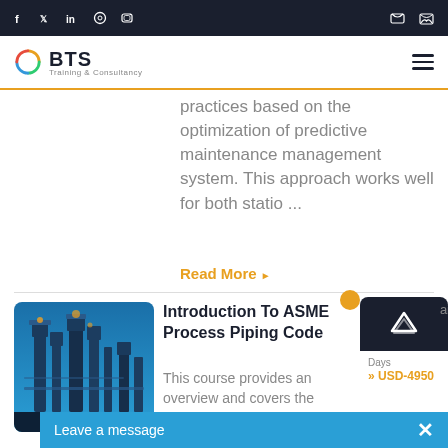BTS Training & Consultancy - Social and contact icons top bar
practices based on the optimization of predictive maintenance management system. This approach works well for both statio ...
Read More
Introduction To ASME Process Piping Code
[Figure (photo): Industrial refinery/piping facility at night with blue-lit towers]
This course provides an overview and covers the
USD-4950
Leave a message